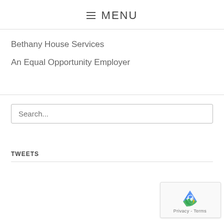≡ MENU
Bethany House Services
An Equal Opportunity Employer
Search...
TWEETS